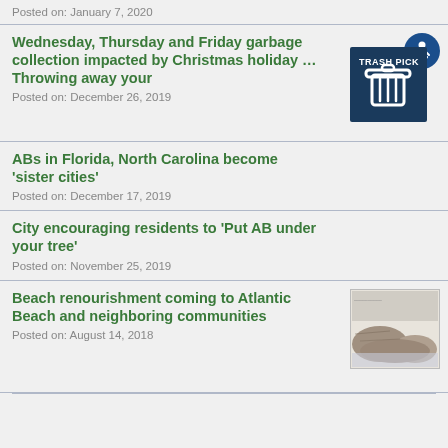Posted on: January 7, 2020
Wednesday, Thursday and Friday garbage collection impacted by Christmas holiday … Throwing away your
[Figure (illustration): Trash pickup icon: dark blue square with trash can icon and disability accessibility symbol]
Posted on: December 26, 2019
ABs in Florida, North Carolina become 'sister cities'
Posted on: December 17, 2019
City encouraging residents to 'Put AB under your tree'
Posted on: November 25, 2019
Beach renourishment coming to Atlantic Beach and neighboring communities
[Figure (photo): Black and white photo of a beach renourishment scene]
Posted on: August 14, 2018